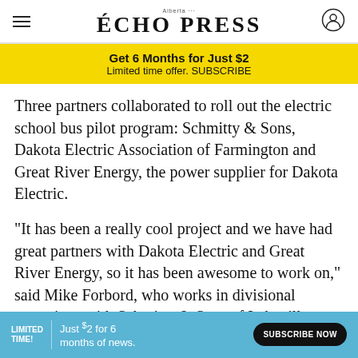Echo Press
Get 6 Months for Just $2
Limited time offer. SUBSCRIBE
Three partners collaborated to roll out the electric school bus pilot program: Schmitty & Sons, Dakota Electric Association of Farmington and Great River Energy, the power supplier for Dakota Electric.
"It has been a really cool project and we have had great partners with Dakota Electric and Great River Energy, so it has been awesome to work on," said Mike Forbord, who works in divisional operations with Schmitty & Sons of Lakeville, Minn., that operates a fleet of 100 school buses serving area distri
LIMITED TIME! Just $2 for 6 months of news. SUBSCRIBE NOW